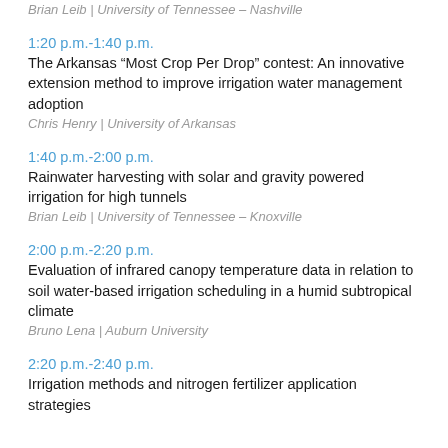Brian Leib | University of Tennessee – Nashville
1:20 p.m.-1:40 p.m.
The Arkansas “Most Crop Per Drop” contest: An innovative extension method to improve irrigation water management adoption
Chris Henry | University of Arkansas
1:40 p.m.-2:00 p.m.
Rainwater harvesting with solar and gravity powered irrigation for high tunnels
Brian Leib | University of Tennessee – Knoxville
2:00 p.m.-2:20 p.m.
Evaluation of infrared canopy temperature data in relation to soil water-based irrigation scheduling in a humid subtropical climate
Bruno Lena | Auburn University
2:20 p.m.-2:40 p.m.
Irrigation methods and nitrogen fertilizer application strategies